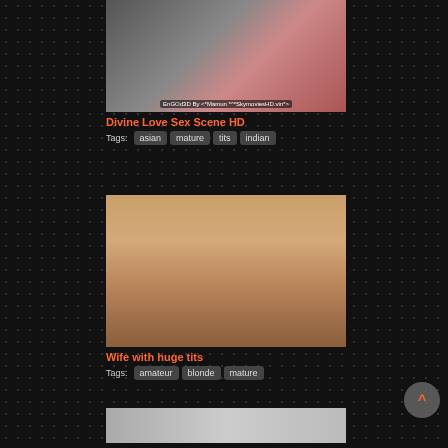[Figure (photo): Thumbnail image for video titled Divine Love Sex Scene HD showing a woman in a floral dress]
Divine Love Sex Scene HD
Tags: asian mature tits indian
[Figure (photo): Thumbnail image for video titled Wife with huge tits showing a bathroom scene]
Wife with huge tits
Tags: amateur blonde mature
[Figure (photo): Partial thumbnail of a third video at the bottom of the page]